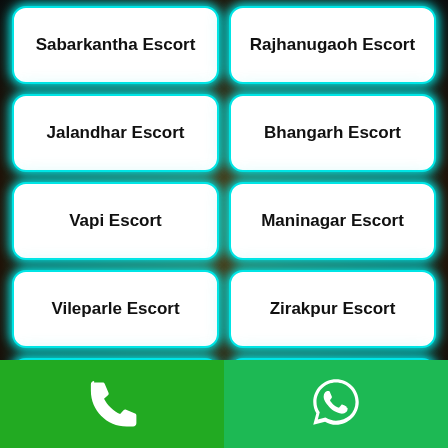Sabarkantha Escort
Rajhanugaoh Escort
Jalandhar Escort
Bhangarh Escort
Vapi Escort
Maninagar Escort
Vileparle Escort
Zirakpur Escort
Modasa Escort
Hoshiarpur Escort
Ambawadi Escort
Sojat Escort
Nakoda Escort
Vashi Escort
[Figure (infographic): Green footer bar with phone icon on left half and WhatsApp icon on right half]